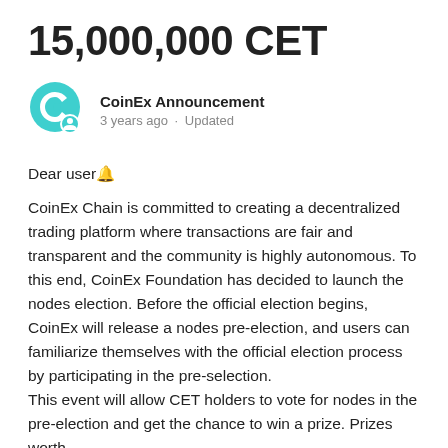15,000,000 CET
CoinEx Announcement
3 years ago · Updated
Dear user🔔
CoinEx Chain is committed to creating a decentralized trading platform where transactions are fair and transparent and the community is highly autonomous. To this end, CoinEx Foundation has decided to launch the nodes election. Before the official election begins, CoinEx will release a nodes pre-election, and users can familiarize themselves with the official election process by participating in the pre-selection.
This event will allow CET holders to vote for nodes in the pre-election and get the chance to win a prize. Prizes worth